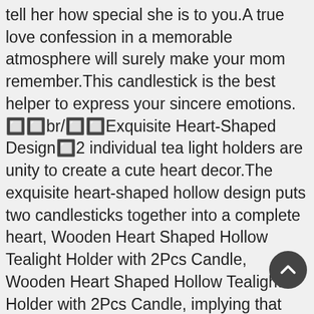tell her how special she is to you.A true love confession in a memorable atmosphere will surely make your mom remember.This candlestick is the best helper to express your sincere emotions. 🔲🔲br/🔲🔲Exquisite Heart-Shaped Design🔲2 individual tea light holders are unity to create a cute heart decor.The exquisite heart-shaped hollow design puts two candlesticks together into a complete heart, Wooden Heart Shaped Hollow Tealight Holder with 2Pcs Candle, Wooden Heart Shaped Hollow Tealight Holder with 2Pcs Candle, implying that you sincere love to your mother. 🔲🔲br/🔲🔲Nature Wood Craftsmanship 🔲 Small Candle holders set is crafted with solid wood, unique anniversary or any moment you want to express your love. This candle is an artifact candle that creates a lovely atmosphere and makes your love Image candlelight illuminates the night. 🔲🔲br/🔲1. Actual color may be slightly different from the image due to different monitor and light effect.🔲1 x Candle Holder(Include Candle)  🔲 🔲 🔲 🔲. Mother's Day Candle Holder Set Candle 1 Pillar 1 Mom Glitter...